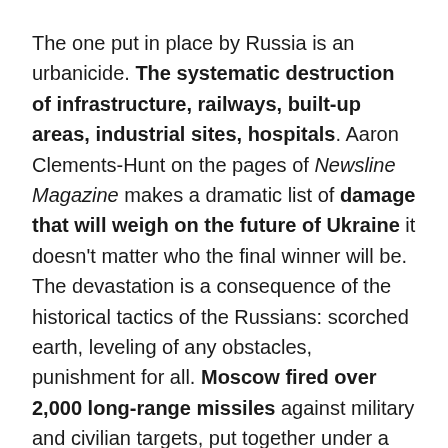The one put in place by Russia is an urbanicide. The systematic destruction of infrastructure, railways, built-up areas, industrial sites, hospitals. Aaron Clements-Hunt on the pages of Newsline Magazine makes a dramatic list of damage that will weigh on the future of Ukraine it doesn't matter who the final winner will be. The devastation is a consequence of the historical tactics of the Russians: scorched earth, leveling of any obstacles, punishment for all. Moscow fired over 2,000 long-range missiles against military and civilian targets, put together under a heavy hammer. At the same time, the resistance has chosen to transform some of its cities into strongholds, for a war but also a political need: leaving them in the hands of the invader would be a reward for aggression.